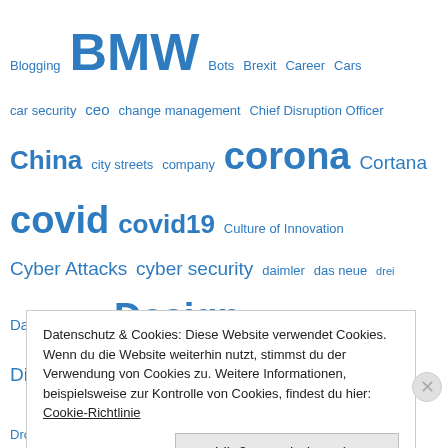[Figure (infographic): Tag cloud with technology and business terms in varying font sizes, all in blue. Terms include: Blogging, BMW, Bots, Brexit, Career, Cars, car security, ceo, change management, Chief Disruption Officer, China, city streets, company, corona, Cortana, covid, covid19, Culture of Innovation, Cyber Attacks, cyber security, daimler, das neue, drei, Data Analytics, Design, Deutsche Telekom, Disrupt, Disruption, drei, driver assistance systems, Drone Delivery, e-mobility, Einfachheit, electric car makers, Elon Musk, Energy Drink, eSIM, Evolution, Facebook, Facebook Messenger, Facebook Phone, Facetime, FBI, Ferrari, Fi, Fintech, flipkart, Ford, Führung, GAID, GDPR, Gear, Genie, Gespräch, google, google+, Google Assistant, hangouts, Health, Hiring, hutchinson, IBM, ICAR, IDFA, Indien, Infiniti, Innovation, Innovators, instagram, IOS, ipad, Iphone]
Datenschutz & Cookies: Diese Website verwendet Cookies. Wenn du die Website weiterhin nutzt, stimmst du der Verwendung von Cookies zu. Weitere Informationen, beispielsweise zur Kontrolle von Cookies, findest du hier: Cookie-Richtlinie
Schließen und Akzeptieren